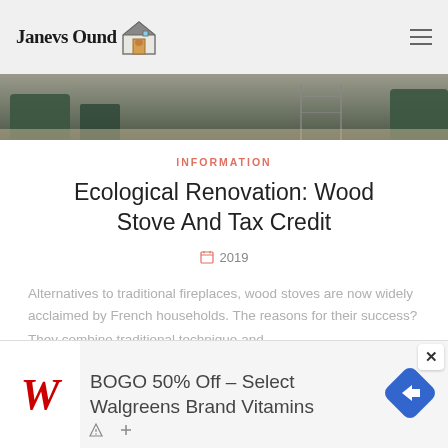Janevs Ound [house logo]
[Figure (photo): Partial interior room photo showing green furniture and metal frame shelving on a light floor, cropped at top]
INFORMATION
Ecological Renovation: Wood Stove And Tax Credit
2019
Alternatives to traditional fireplaces, wood stoves are now widely acclaimed by French households. The reasons for their success? They combine traditional technique and
[Figure (other): Advertisement banner: BOGO 50% Off - Select Walgreens Brand Vitamins with Walgreens logo (red italic W) and a blue navigation arrow icon]